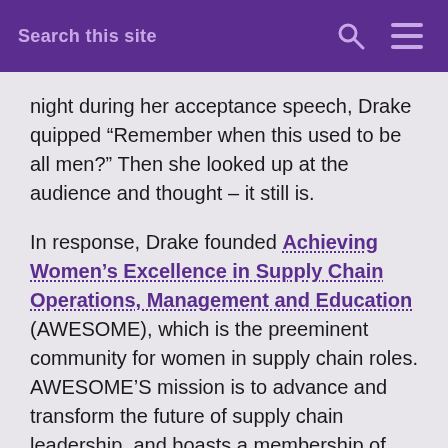Search this site
night during her acceptance speech, Drake quipped “Remember when this used to be all men?” Then she looked up at the audience and thought – it still is.
In response, Drake founded Achieving Women’s Excellence in Supply Chain Operations, Management and Education (AWESOME), which is the preeminent community for women in supply chain roles. AWESOME’S mission is to advance and transform the future of supply chain leadership, and boasts a membership of more than 1,500, including executives at